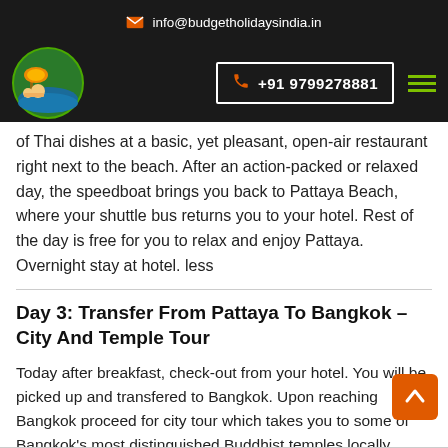info@budgetholidaysindia.in
[Figure (logo): Budget Holidays India circular logo with beach and umbrella scene]
+91 9799278881
of Thai dishes at a basic, yet pleasant, open-air restaurant right next to the beach. After an action-packed or relaxed day, the speedboat brings you back to Pattaya Beach, where your shuttle bus returns you to your hotel. Rest of the day is free for you to relax and enjoy Pattaya. Overnight stay at hotel. less
Day 3: Transfer From Pattaya To Bangkok – City And Temple Tour
Today after breakfast, check-out from your hotel. You will be picked up and transfered to Bangkok. Upon reaching Bangkok proceed for city tour which takes you to some of Bangkok's most distinguished Buddhist temples locally known as Wats. Visit Wat Traimit, Temple of the Golden Buddha which is home to a 5.5 ton statue of the holy Buddha made from solid gold and is a fine example of Sukhothai. Later check-in to your hotel and spend the evening at leisure. Overnight stay at hotel. less